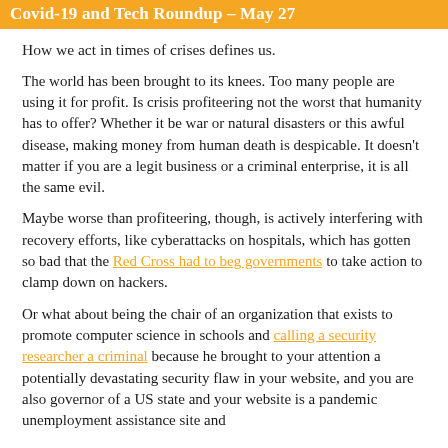Covid-19 and Tech Roundup – May 27
How we act in times of crises defines us.
The world has been brought to its knees. Too many people are using it for profit. Is crisis profiteering not the worst that humanity has to offer? Whether it be war or natural disasters or this awful disease, making money from human death is despicable. It doesn't matter if you are a legit business or a criminal enterprise, it is all the same evil.
Maybe worse than profiteering, though, is actively interfering with recovery efforts, like cyberattacks on hospitals, which has gotten so bad that the Red Cross had to beg governments to take action to clamp down on hackers.
Or what about being the chair of an organization that exists to promote computer science in schools and calling a security researcher a criminal because he brought to your attention a potentially devastating security flaw in your website, and you are also governor of a US state and your website is a pandemic unemployment assistance site and the security flaw was never even disclosed to the public?